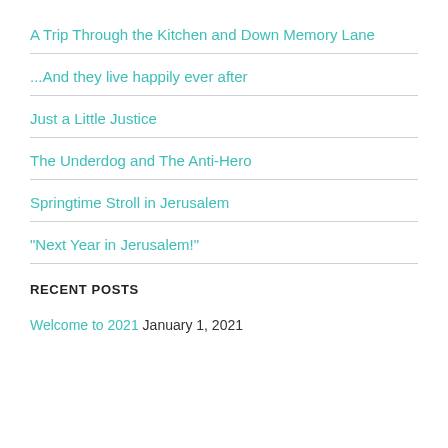A Trip Through the Kitchen and Down Memory Lane
...And they live happily ever after
Just a Little Justice
The Underdog and The Anti-Hero
Springtime Stroll in Jerusalem
"Next Year in Jerusalem!"
RECENT POSTS
Welcome to 2021  January 1, 2021